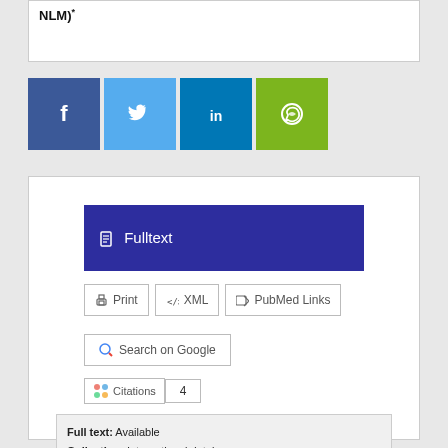NLM)
[Figure (other): Social sharing icons: Facebook (dark blue), Twitter (light blue), LinkedIn (dark teal blue), WhatsApp (green)]
[Figure (screenshot): Fulltext access panel with dark blue Fulltext button, Print/XML/PubMed Links buttons, Search on Google button, Citations badge showing 4]
Full text: Available
Collection: International databases
Database: MEDLINE